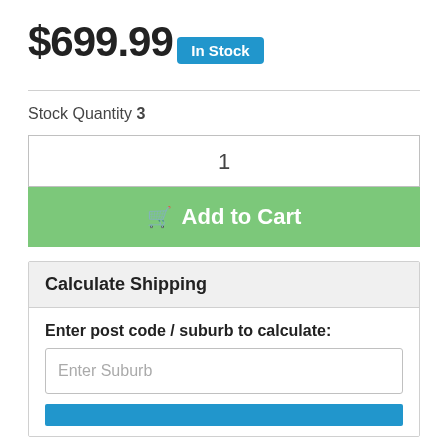$699.99
In Stock
Stock Quantity 3
1
Add to Cart
Calculate Shipping
Enter post code / suburb to calculate:
Enter Suburb